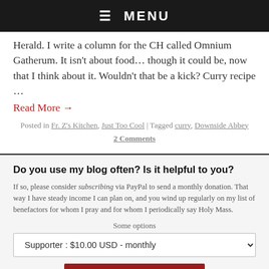☰  MENU
Herald.  I write a column for the CH called Omnium Gatherum.  It isn't about food… though it could be, now that I think about it.  Wouldn't that be a kick? Curry recipe …
Read More →
Posted in Fr. Z's Kitchen, Just Too Cool | Tagged curry, Downside Abbey
2 Comments
Do you use my blog often? Is it helpful to you?
If so, please consider subscribing via PayPal to send a monthly donation. That way I have steady income I can plan on, and you wind up regularly on my list of benefactors for whom I pray and for whom I periodically say Holy Mass.
Some options
Supporter : $10.00 USD - monthly
SUBSCRIBE